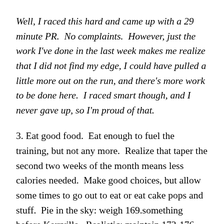Well, I raced this hard and came up with a 29 minute PR.  No complaints.  However, just the work I've done in the last week makes me realize that I did not find my edge, I could have pulled a little more out on the run, and there's more work to be done here.  I raced smart though, and I never gave up, so I'm proud of that.
3. Eat good food.  Eat enough to fuel the training, but not any more.  Realize that taper the second two weeks of the month means less calories needed.  Make good choices, but allow some times to go out to eat or eat cake pops and stuff.  Pie in the sky: weigh 169.something before Kerrville.  Realistic: maintain 173-176.  Do something between that.  Also, don't